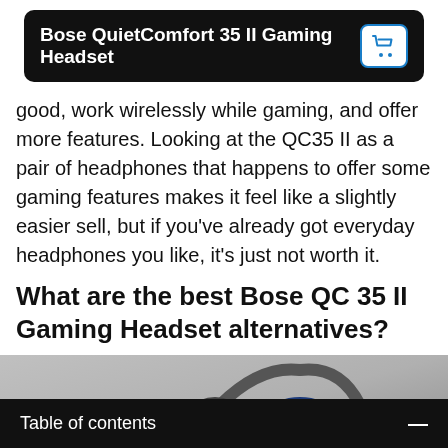Bose QuietComfort 35 II Gaming Headset
good, work wirelessly while gaming, and offer more features. Looking at the QC35 II as a pair of headphones that happens to offer some gaming features makes it feel like a slightly easier sell, but if you've already got everyday headphones you like, it's just not worth it.
What are the best Bose QC 35 II Gaming Headset alternatives?
[Figure (photo): Photo of a gaming headset with blue circular ear cup visible against a gray background]
Table of contents